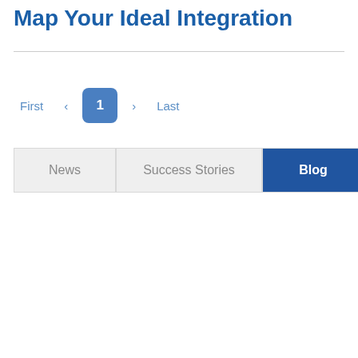Map Your Ideal Integration
[Figure (screenshot): Pagination controls showing First, left arrow, page 1 (active, blue rounded button), right arrow, Last]
[Figure (screenshot): Tab navigation with three buttons: News (light gray), Success Stories (light gray), Blog (dark blue, active)]